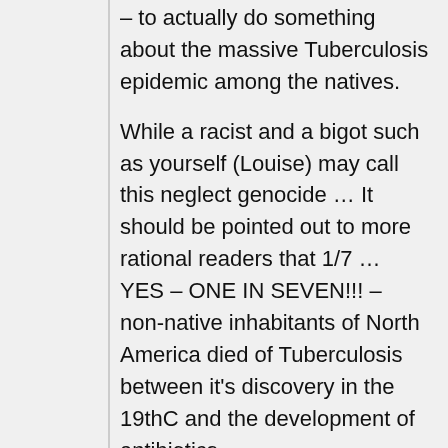– to actually do something about the massive Tuberculosis epidemic among the natives.
While a racist and a bigot such as yourself (Louise) may call this neglect genocide … It should be pointed out to more rational readers that 1/7 … YES – ONE IN SEVEN!!! – non-native inhabitants of North America died of Tuberculosis between it's discovery in the 19thC and the development of antibiotics.
… And NO … no one can blame 'whitey' for the Tuberculosis in the New World. TB has been with mankind from the